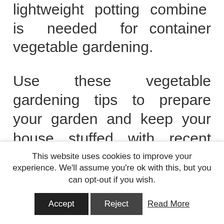lightweight potting combine is needed for container vegetable gardening.
Use these vegetable gardening tips to prepare your garden and keep your house stuffed with recent vegetables. The lighting system you are going to be utilizing for your vegetable backyard can be just as essential. Squash is one other widespread selection for house vegetable gardeners due to its heavy yields. You'll want some basic planting tools These are the essentials: spade, garden fork, soaking hose, hoe, hand weeder, and wheelbarrow (or
This website uses cookies to improve your experience. We'll assume you're ok with this, but you can opt-out if you wish. Accept Reject Read More